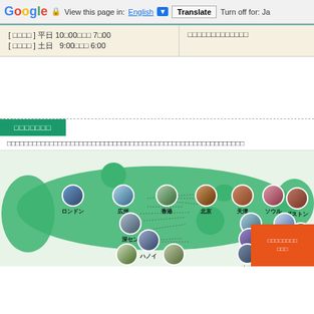Google  View this page in: English [v]  Translate  Turn off for: Ja
| [ □□□□ ] 平日 10□00□□□ 7□00
[ □□□□ ] 土日  9:00□□□ 6:00 | □□□□□□□□□□□□□ |
□□□□□□□
□□□□□□□□□□□□□□□□□□□□□□□□□□□□□□□□□□□□□□□□□□□□□□□□□□□□□□□□
[Figure (map): World map showing office/representative city locations in Asia, Europe, and North America. Cities labeled include: ロンドン (London), 広州, 香港, 北京, 天津, ソウル, ボストン, 深セン, 上海, 新上海, ニューヨーク, 台湾, ハノイ, 高雄, シンガポール, マニラ. Each city is represented by a circular photo. Orange button at bottom right with Japanese text.]